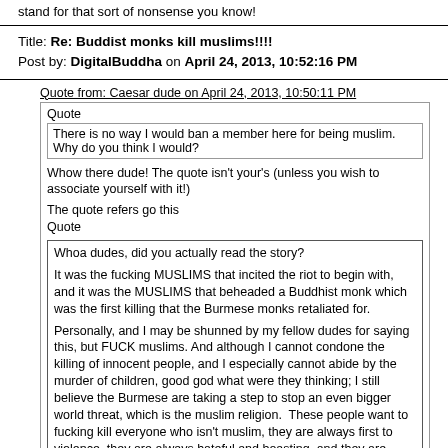stand for that sort of nonsense you know!
Title: Re: Buddist monks kill muslims!!!!
Post by: DigitalBuddha on April 24, 2013, 10:52:16 PM
Quote from: Caesar dude on April 24, 2013, 10:50:11 PM
Quote
There is no way I would ban a member here for being muslim. Why do you think I would?

Whow there dude! The quote isn't your's (unless you wish to associate yourself with it!)

The quote refers go this
Quote
Whoa dudes, did you actually read the story?

It was the fucking MUSLIMS that incited the riot to begin with, and it was the MUSLIMS that beheaded a Buddhist monk which was the first killing that the Burmese monks retaliated for.

Personally, and I may be shunned by my fellow dudes for saying this, but FUCK muslims. And although I cannot condone the killing of innocent people, and I especially cannot abide by the murder of children, good god what were they thinking; I still believe the Burmese are taking a step to stop an even bigger world threat, which is the muslim religion.  These people want to fucking kill everyone who isn't muslim, they are always first to violence, they are always hateful and boasting, and they are liars. They openly admit in their own country and to each other, that anyone who is not muslim should be put to death, but the ones here in America or anywhere else in the world always claim "no no, that's the radicals" I'm just a good little muslim",  ( you would say the same shit if you were behind enemy lines or surrounded by enemies)  They are here in America, and are just evil people, period, boo on muslims, and I for one, am not leaving, I'm gonna drink my coffee, and any muslims can just kiss my glorious white American ass.